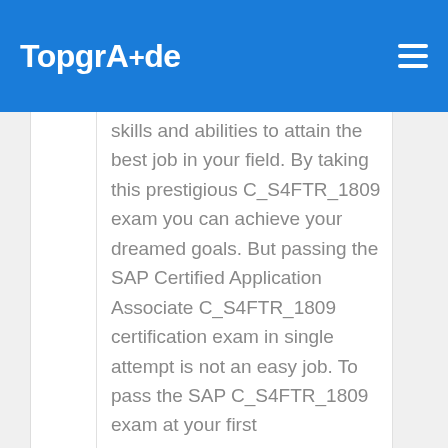TopgrAde
skills and abilities to attain the best job in your field. By taking this prestigious C_S4FTR_1809 exam you can achieve your dreamed goals. But passing the SAP Certified Application Associate C_S4FTR_1809 certification exam in single attempt is not an easy job. To pass the SAP C_S4FTR_1809 exam at your first